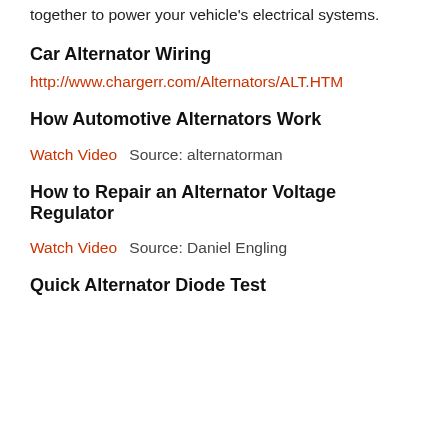together to power your vehicle's electrical systems.
Car Alternator Wiring
http://www.chargerr.com/Alternators/ALT.HTM
How Automotive Alternators Work
Watch Video  Source: alternatorman
How to Repair an Alternator Voltage Regulator
Watch Video  Source: Daniel Engling
Quick Alternator Diode Test